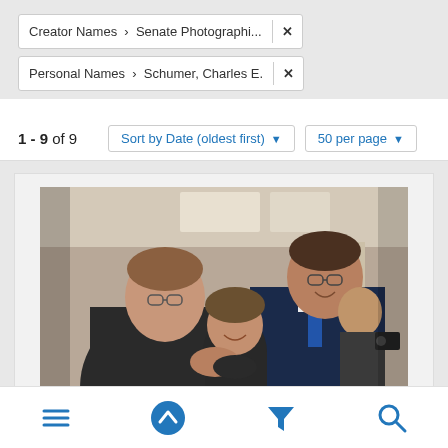Creator Names › Senate Photographi... ✕
Personal Names › Schumer, Charles E. ✕
1 - 9 of 9
Sort by Date (oldest first) ▾
50 per page ▾
[Figure (photo): Two men in dark suits shaking hands and laughing, with a woman in the background also smiling, and other people visible in a hallway or office setting.]
≡  ⬆  ▼  🔍